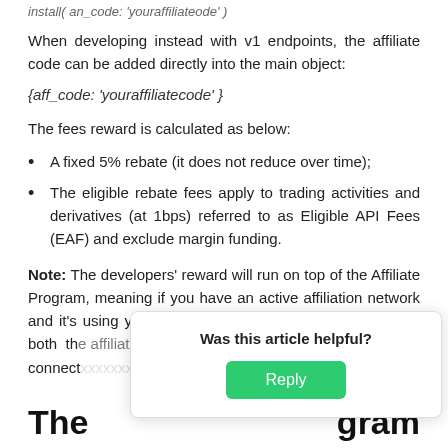install( an_code: 'youraffiliateode' )
When developing instead with v1 endpoints, the affiliate code can be added directly into the main object:
The fees reward is calculated as below:
A fixed 5% rebate (it does not reduce over time);
The eligible rebate fees apply to trading activities and derivatives (at 1bps) referred to as Eligible API Fees (EAF) and exclude margin funding.
Note: The developers' reward will run on top of the Affiliate Program, meaning if you have an active affiliation network and it's using your trading tool, you will be rewarded with both the affiliate's (starting at 10% immediate connect
The ... gram